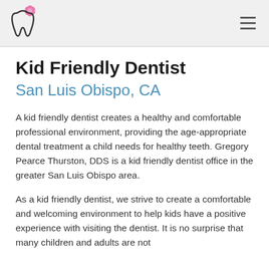[Logo: tooth with flower] [Hamburger menu icon]
Kid Friendly Dentist
San Luis Obispo, CA
A kid friendly dentist creates a healthy and comfortable professional environment, providing the age-appropriate dental treatment a child needs for healthy teeth. Gregory Pearce Thurston, DDS is a kid friendly dentist office in the greater San Luis Obispo area.
As a kid friendly dentist, we strive to create a comfortable and welcoming environment to help kids have a positive experience with visiting the dentist. It is no surprise that many children and adults are not...